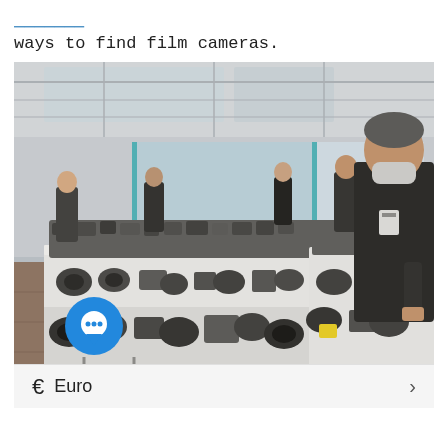ways to find film cameras.
[Figure (photo): Indoor camera market/fair with tables full of film cameras and photography equipment. Several people wearing masks browsing, a man in black on the right wearing a face mask and badge. Large windows and skylights in the background.]
€ Euro >